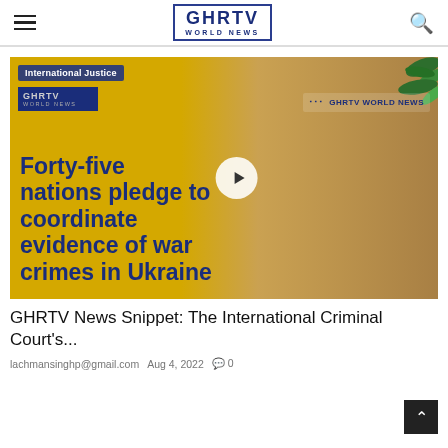GHRTV WORLD NEWS
[Figure (screenshot): Video thumbnail showing a woman against a yellow background with GHRTV World News branding. Overlay text reads: 'Forty-five nations pledge to coordinate evidence of war crimes in Ukraine'. Tags visible: 'International Justice' (top-left), 'GHRTV WORLD NEWS' watermark (top-right). Play button in center.]
GHRTV News Snippet: The International Criminal Court's...
lachmansinghp@gmail.com  Aug 4, 2022  0